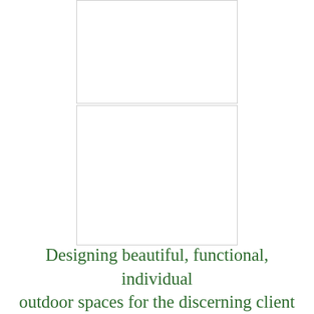[Figure (photo): Two stacked white/blank image placeholders with light grey borders, centered on the upper portion of the page.]
Designing beautiful, functional, individual outdoor spaces for the discerning client